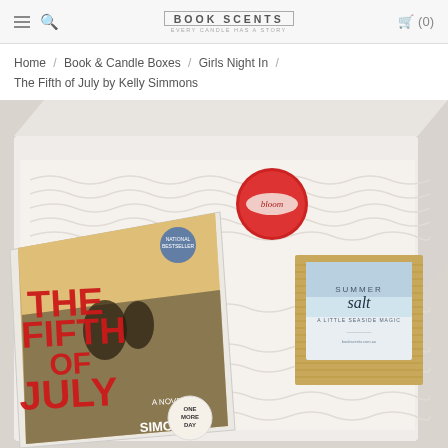BOOK SCENTS | (0)
Home / Book & Candle Boxes / Girls Night In / The Fifth of July by Kelly Simmons
[Figure (photo): An open white gift box filled with white crinkle paper packing material, containing: a book titled 'The Fifth of July' by Simmons (with red title text and a blue silhouette cover image), a small round red tin (labeled 'bloom'), and a kraft cardboard box labeled 'Summer Salt'. The box lid is propped open in the background.]